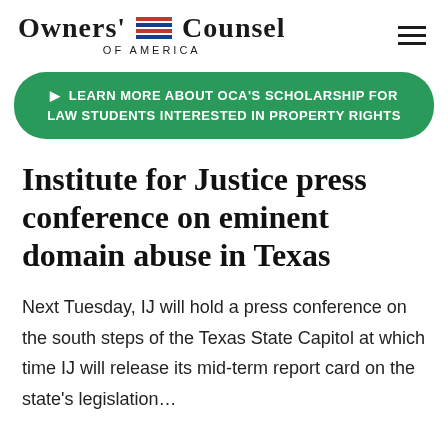Owners' Counsel of America
▶ LEARN MORE ABOUT OCA'S SCHOLARSHIP FOR LAW STUDENTS INTERESTED IN PROPERTY RIGHTS
Institute for Justice press conference on eminent domain abuse in Texas
Next Tuesday, IJ will hold a press conference on the south steps of the Texas State Capitol at which time IJ will release its mid-term report card on the state's legislation…